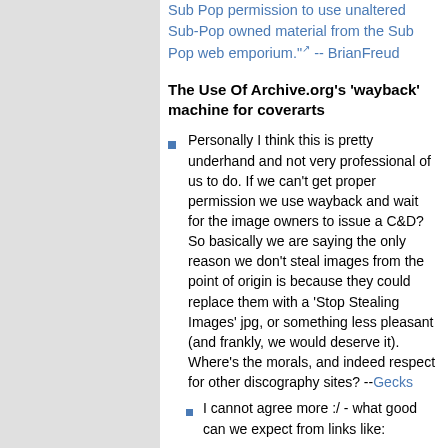Sub Pop permission to use unaltered Sub-Pop owned material from the Sub Pop web emporium." -- BrianFreud
The Use Of Archive.org's 'wayback' machine for coverarts
Personally I think this is pretty underhand and not very professional of us to do. If we can't get proper permission we use wayback and wait for the image owners to issue a C&D? So basically we are saying the only reason we don't steal images from the point of origin is because they could replace them with a 'Stop Stealing Images' jpg, or something less pleasant (and frankly, we would deserve it). Where's the morals, and indeed respect for other discography sites? --Gecks
I cannot agree more :/ - what good can we expect from links like: